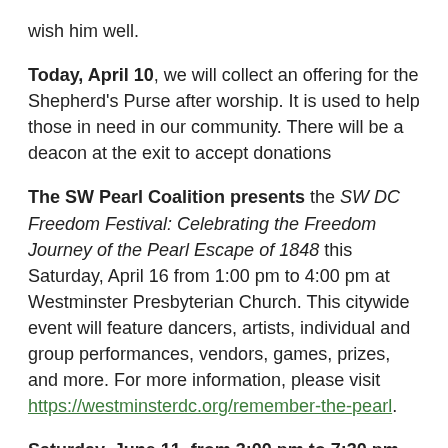wish him well.
Today, April 10, we will collect an offering for the Shepherd's Purse after worship. It is used to help those in need in our community. There will be a deacon at the exit to accept donations
The SW Pearl Coalition presents the SW DC Freedom Festival: Celebrating the Freedom Journey of the Pearl Escape of 1848 this Saturday, April 16 from 1:00 pm to 4:00 pm at Westminster Presbyterian Church. This citywide event will feature dancers, artists, individual and group performances, vendors, games, prizes, and more. For more information, please visit https://westminsterdc.org/remember-the-pearl.
Saturday, June 11, from 3:00 pm to 7:30 pm, Riverside Baptist Church and the Association of Welcoming and Affirming Baptist, A.W.A.B., will walk in the 2022 Capital Pride Parade, Logan and Dupont Circle neighborhoods, Washington, DC. If